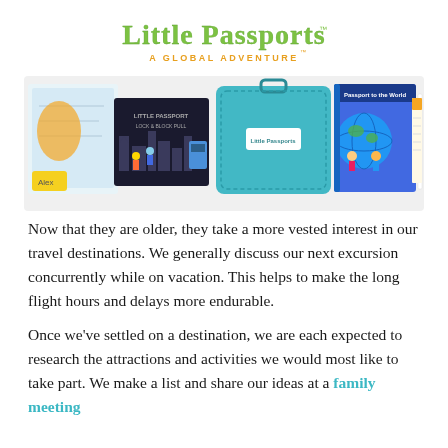[Figure (logo): Little Passports logo with text 'A Global Adventure' below]
[Figure (photo): Product photo showing Little Passports subscription box contents: world map, dark activity book, blue suitcase kit, globe activity book, and documents/papers]
Now that they are older, they take a more vested interest in our travel destinations. We generally discuss our next excursion concurrently while on vacation. This helps to make the long flight hours and delays more endurable.
Once we've settled on a destination, we are each expected to research the attractions and activities we would most like to take part. We make a list and share our ideas at a family meeting